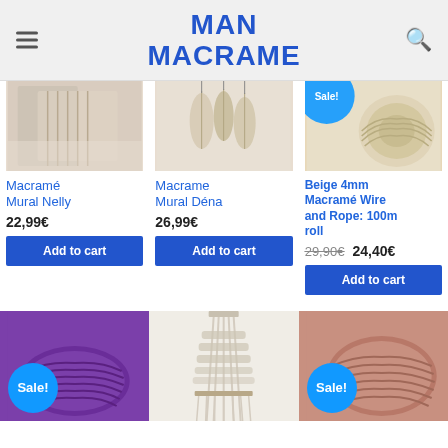MAN MACRAME
[Figure (photo): Macramé Mural Nelly product image - macrame wall hanging]
[Figure (photo): Macrame Mural Déna product image - macrame feather earrings hanging]
[Figure (photo): Beige 4mm Macramé Wire and Rope 100m roll product image]
Macramé Mural Nelly
22,99€
Add to cart
Macrame Mural Déna
26,99€
Add to cart
Beige 4mm Macramé Wire and Rope: 100m roll
29,90€  24,40€
Add to cart
[Figure (photo): Purple macrame cord roll with Sale badge]
[Figure (photo): White macrame wall hanging piece]
[Figure (photo): Pink/dusty rose macrame cord roll with Sale badge]